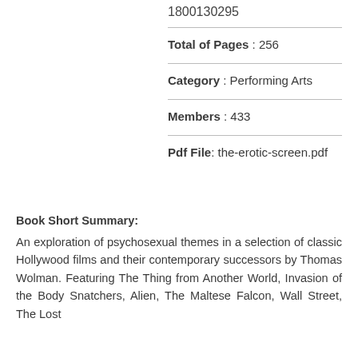1800130295
Total of Pages : 256
Category : Performing Arts
Members : 433
Pdf File: the-erotic-screen.pdf
Book Short Summary:
An exploration of psychosexual themes in a selection of classic Hollywood films and their contemporary successors by Thomas Wolman. Featuring The Thing from Another World, Invasion of the Body Snatchers, Alien, The Maltese Falcon, Wall Street, The Lost